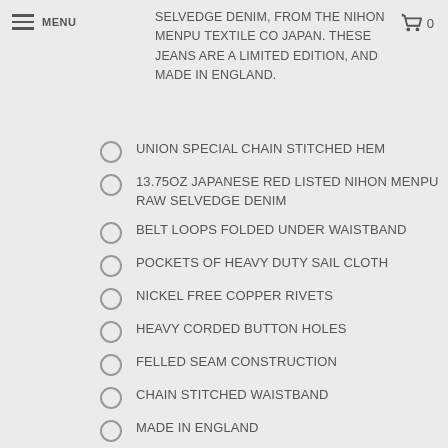MENU
SELVEDGE DENIM, FROM THE NIHON MENPU TEXTILE CO JAPAN. THESE JEANS ARE A LIMITED EDITION, AND MADE IN ENGLAND.
UNION SPECIAL CHAIN STITCHED HEM
13.75OZ JAPANESE RED LISTED NIHON MENPU RAW SELVEDGE DENIM
BELT LOOPS FOLDED UNDER WAISTBAND
POCKETS OF HEAVY DUTY SAIL CLOTH
NICKEL FREE COPPER RIVETS
HEAVY CORDED BUTTON HOLES
FELLED SEAM CONSTRUCTION
CHAIN STITCHED WAISTBAND
MADE IN ENGLAND